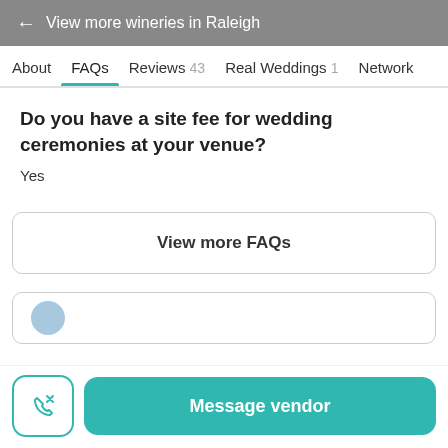← View more wineries in Raleigh
About  FAQs  Reviews 43  Real Weddings 1  Network
Do you have a site fee for wedding ceremonies at your venue?
Yes
View more FAQs
Message vendor